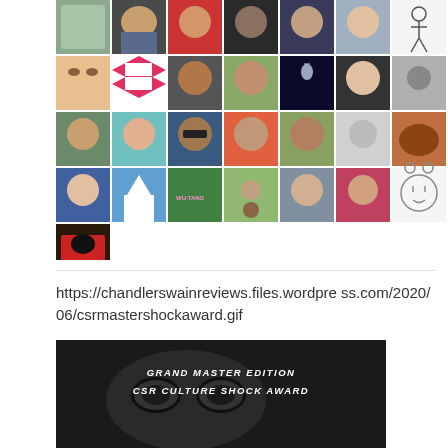[Figure (photo): Grid of profile/avatar photos and illustrations arranged in rows, showing various people, animals, and illustrated avatars]
https://chandlerswainreviews.files.wordpress.com/2020/06/csrmastershockaward.gif
[Figure (photo): Dark banner image with close-up of eyes and text: GRAND MASTER EDITION / CSR CULTURE SHOCK AWARD]